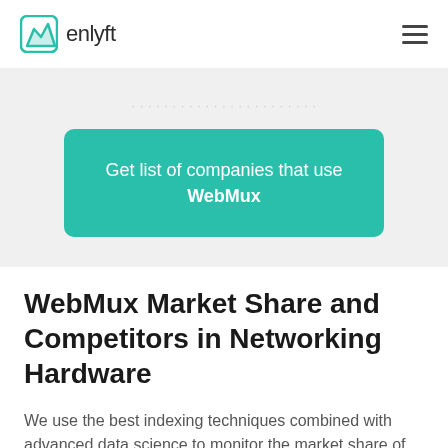enlyft
Get list of companies that use WebMux
WebMux Market Share and Competitors in Networking Hardware
We use the best indexing techniques combined with advanced data science to monitor the market share of